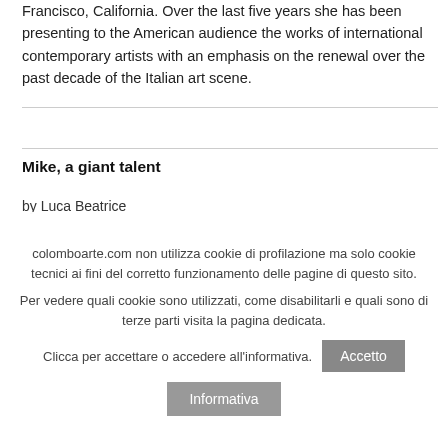Francisco, California. Over the last five years she has been presenting to the American audience the works of international contemporary artists with an emphasis on the renewal over the past decade of the Italian art scene.
Mike, a giant talent
by Luca Beatrice
colomboarte.com non utilizza cookie di profilazione ma solo cookie tecnici ai fini del corretto funzionamento delle pagine di questo sito.
Per vedere quali cookie sono utilizzati, come disabilitarli e quali sono di terze parti visita la pagina dedicata.
Clicca per accettare o accedere all'informativa.